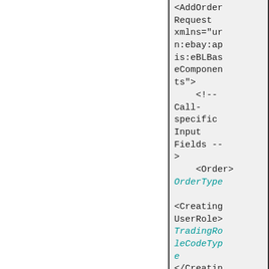<AddOrderRequest xmlns="urn:ebay:apis:eBLBaseComponents">
    <!-- Call-specific Input Fields -->
    <Order>
OrderType

<CreatingUserRole>
TradingRoleCodeType
</CreatingUserRole>